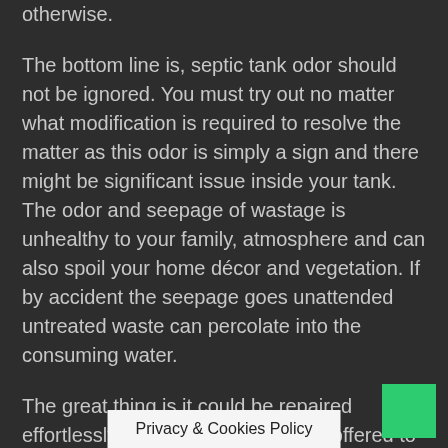otherwise.
The bottom line is, septic tank odor should not be ignored. You must try out no matter what modification is required to resolve the matter as this odor is simply a sign and there might be significant issue inside your tank. The odor and seepage of wastage is unhealthy to your family, atmosphere and can also spoil your home décor and vegetation. If by accident the seepage goes unattended untreated waste can percolate into the consuming water.
The great thing is it could be repaired effortlessly there are professionals offered to solve the issue. You simply need to access the local directory to obtain the listing of nearby septic tank products. Repair your septic tank odor issue as soon as you can.
s a septic system proprietor, you might want to try out your degree better to stay secure. This is more important in case you are across the opening  In truth,
Privacy & Cookies Policy